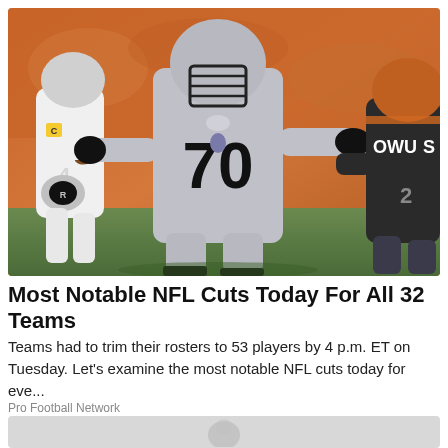[Figure (photo): NFL football players during a game. Center player wearing Las Vegas Raiders silver uniform with number 70 blocking. Behind him is a Raiders quarterback in white holding the ball. On the right edge is a player in a dark Cleveland Browns uniform (OWUS visible on back). The stadium has an orange background.]
Most Notable NFL Cuts Today For All 32 Teams
Teams had to trim their rosters to 53 players by 4 p.m. ET on Tuesday. Let's examine the most notable NFL cuts today for eve...
Pro Football Network
[Figure (photo): Partial view of a second article card with a light gray background and a faint illustrated figure visible at the bottom of the page.]